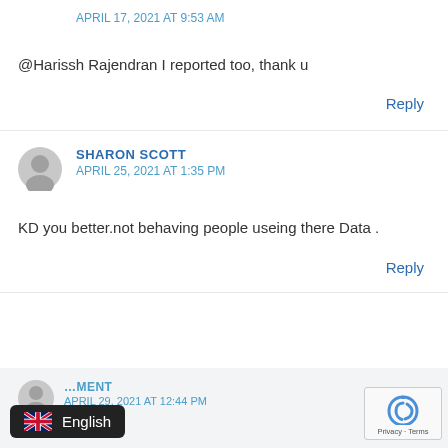APRIL 17, 2021 AT 9:53 AM
@Harissh Rajendran I reported too, thank u
Reply
SHARON SCOTT
APRIL 25, 2021 AT 1:35 PM
KD you better.not behaving people useing there Data .
Reply
English
APRIL 29, 2021 AT 12:44 PM